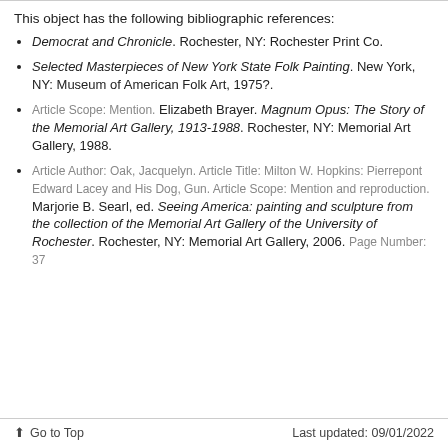This object has the following bibliographic references:
Democrat and Chronicle. Rochester, NY: Rochester Print Co.
Selected Masterpieces of New York State Folk Painting. New York, NY: Museum of American Folk Art, 1975?.
Article Scope: Mention. Elizabeth Brayer. Magnum Opus: The Story of the Memorial Art Gallery, 1913-1988. Rochester, NY: Memorial Art Gallery, 1988.
Article Author: Oak, Jacquelyn. Article Title: Milton W. Hopkins: Pierrepont Edward Lacey and His Dog, Gun. Article Scope: Mention and reproduction. Marjorie B. Searl, ed. Seeing America: painting and sculpture from the collection of the Memorial Art Gallery of the University of Rochester. Rochester, NY: Memorial Art Gallery, 2006. Page Number: 37
Go to Top      Last updated: 09/01/2022